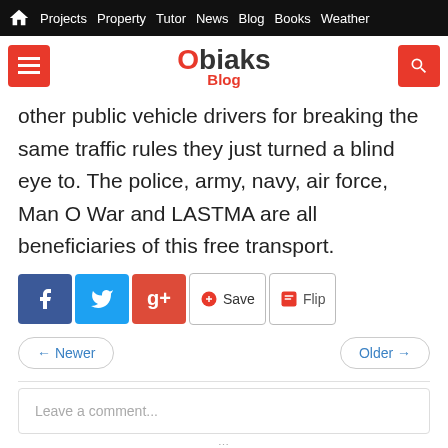Home | Projects | Property | Tutor | News | Blog | Books | Weather
[Figure (logo): Obiaks Blog logo with menu and search buttons]
other public vehicle drivers for breaking the same traffic rules they just turned a blind eye to. The police, army, navy, air force, Man O War and LASTMA are all beneficiaries of this free transport.
[Figure (infographic): Social share buttons: Facebook, Twitter, Google+, Save, Flip]
← Newer    Older →
Leave a comment...
Sort by Newest